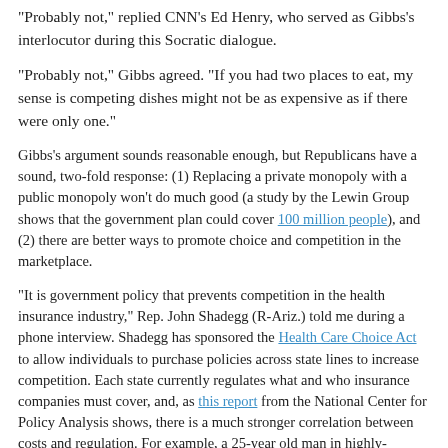"Probably not," replied CNN's Ed Henry, who served as Gibbs's interlocutor during this Socratic dialogue.
"Probably not," Gibbs agreed. "If you had two places to eat, my sense is competing dishes might not be as expensive as if there were only one."
Gibbs's argument sounds reasonable enough, but Republicans have a sound, two-fold response: (1) Replacing a private monopoly with a public monopoly won't do much good (a study by the Lewin Group shows that the government plan could cover 100 million people), and (2) there are better ways to promote choice and competition in the marketplace.
"It is government policy that prevents competition in the health insurance industry," Rep. John Shadegg (R-Ariz.) told me during a phone interview. Shadegg has sponsored the Health Care Choice Act to allow individuals to purchase policies across state lines to increase competition. Each state currently regulates what and who insurance companies must cover, and, as this report from the National Center for Policy Analysis shows, there is a much stronger correlation between costs and regulation. For example, a 25-year old man in highly-regulated New Jersey or New York would pay more than $5,000 for a policy while the same person would pay only about $1,500 in lightly-regulated Iowa or Kansas.
In addition to letting people purchase policies across state lines, Shadegg argues that "we have to enable people to purchase their own health insurance at